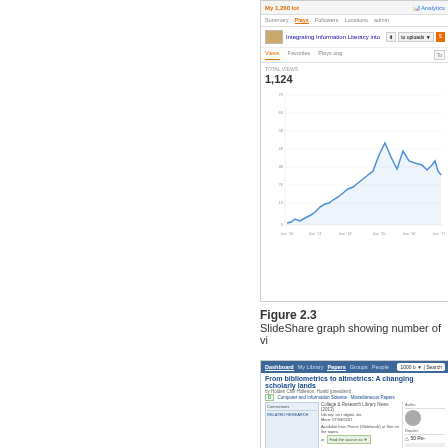[Figure (screenshot): SlideShare analytics screenshot showing 'Integrating Information Literacy into' presentation with total views of 1,124 and a line chart showing views over time from approximately 2010 to 2017]
Figure 2.3
SlideShare graph showing number of vi...
[Figure (screenshot): Academia.edu page screenshot showing paper 'From bibliometrics to altmetrics: A changing scholarly lands...' by Holowell, with abstract, connections panel, and reader statistics]